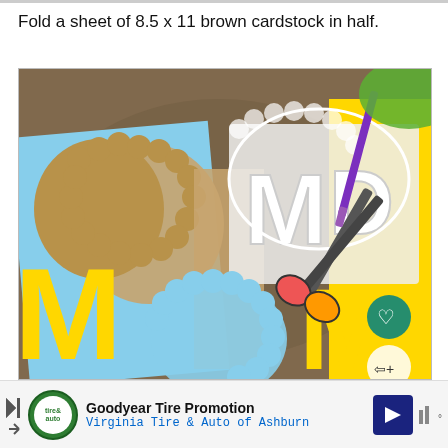Fold a sheet of 8.5 x 11 brown cardstock in half.
[Figure (photo): Craft photo showing yellow letters spelling MOM, blue and brown cardstock with decorative scalloped borders, scissors, and a purple pen on a colorful painted table surface. White cut-out letters M and D visible on top. Heart and share icons visible in bottom right corner of the photo.]
Goodyear Tire Promotion
Virginia Tire & Auto of Ashburn